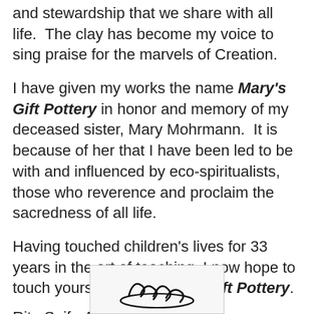and stewardship that we share with all life.  The clay has become my voice to sing praise for the marvels of Creation.
I have given my works the name Mary's Gift Pottery in honor and memory of my deceased sister, Mary Mohrmann.  It is because of her that I have been led to be with and influenced by eco-spiritualists, those who reverence and proclaim the sacredness of all life.
Having touched children's lives for 33 years in the art of teaching, I now hope to touch yours through Mary's Gift Pottery.
Rita Seif - Artist
[Figure (illustration): Partial view of a handwritten signature in black ink on a light/white background, cropped at the bottom of the page.]